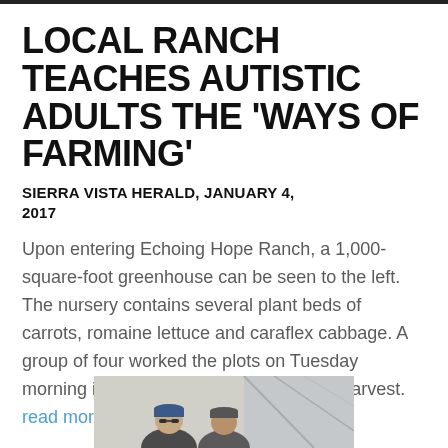LOCAL RANCH TEACHES AUTISTIC ADULTS THE 'WAYS OF FARMING'
SIERRA VISTA HERALD, JANUARY 4, 2017
Upon entering Echoing Hope Ranch, a 1,000-square-foot greenhouse can be seen to the left. The nursery contains several plant beds of carrots, romaine lettuce and caraflex cabbage. A group of four worked the plots on Tuesday morning in preparation for an upcoming harvest. read more
[Figure (photo): Two people standing outdoors, one wearing a cap and sunglasses, partial view of greenhouse structure in background.]